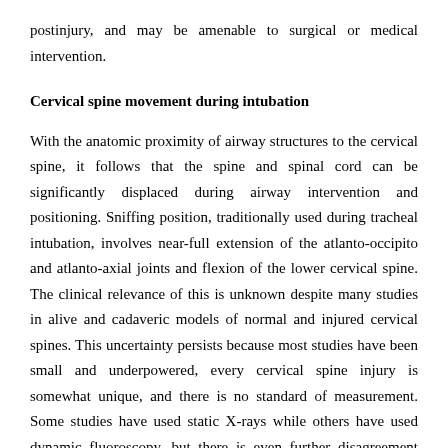postinjury, and may be amenable to surgical or medical intervention.
Cervical spine movement during intubation
With the anatomic proximity of airway structures to the cervical spine, it follows that the spine and spinal cord can be significantly displaced during airway intervention and positioning. Sniffing position, traditionally used during tracheal intubation, involves near-full extension of the atlanto-occipito and atlanto-axial joints and flexion of the lower cervical spine. The clinical relevance of this is unknown despite many studies in alive and cadaveric models of normal and injured cervical spines. This uncertainty persists because most studies have been small and underpowered, every cervical spine injury is somewhat unique, and there is no standard of measurement. Some studies have used static X-rays while others have used dynamic fluoroscopy, but there is even further disagreement about what is important in terms of absolute or relative displacement, or if focus should be on motion segments of two or three vertebra versus the whole cervical spine. These questions have been difficult to answer, and are likely to remain unanswered, because it would be unethical to subject potential cervical spine and spinal cord injury patients to a double-blind placebo controlled study. Two studies, however, are worth mention from a practical standpoint.